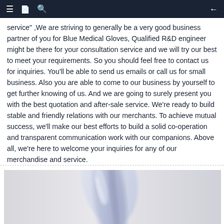Navigation bar with menu, bookmark, search icons and back arrow
service" ,We are striving to generally be a very good business partner of you for Blue Medical Gloves, Qualified R&D engineer might be there for your consultation service and we will try our best to meet your requirements. So you should feel free to contact us for inquiries. You'll be able to send us emails or call us for small business. Also you are able to come to our business by yourself to get further knowing of us. And we are going to surely present you with the best quotation and after-sale service. We're ready to build stable and friendly relations with our merchants. To achieve mutual success, we'll make our best efforts to build a solid co-operation and transparent communication work with our companions. Above all, we're here to welcome your inquiries for any of our merchandise and service.
[Figure (photo): Photo of a blue medical glove or glove packaging, blurred/out-of-focus close-up image with light blue and gray tones]